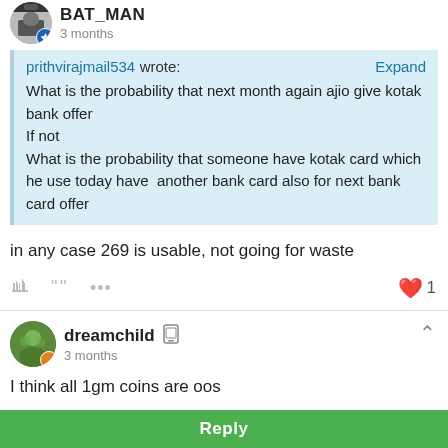BAT_MAN
3 months
prithvirajmail534 wrote:
What is the probability that next month again ajio give kotak bank offer
If not
What is the probability that someone have kotak card which he use today have  another bank card also for next bank card offer
in any case 269 is usable, not going for waste
dreamchild
3 months
I think all 1gm coins are oos
Reply